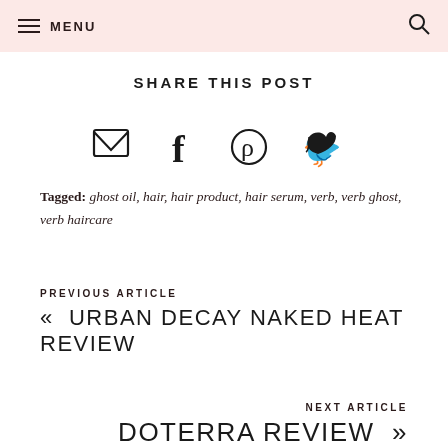≡ MENU   🔍
SHARE THIS POST
[Figure (other): Social sharing icons: email envelope, Facebook f, Pinterest p, Twitter bird]
Tagged: ghost oil, hair, hair product, hair serum, verb, verb ghost, verb haircare
PREVIOUS ARTICLE
« URBAN DECAY NAKED HEAT REVIEW
NEXT ARTICLE
DOTERRA REVIEW »